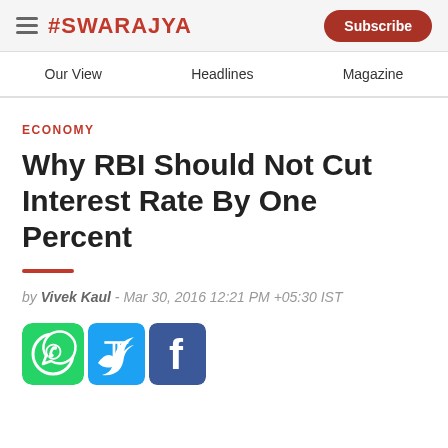#SWARAJYA | Subscribe
Our View | Headlines | Magazine
ECONOMY
Why RBI Should Not Cut Interest Rate By One Percent
by Vivek Kaul - Mar 30, 2016 12:21 PM +05:30 IST
[Figure (other): Social share buttons: WhatsApp, Twitter, Facebook]